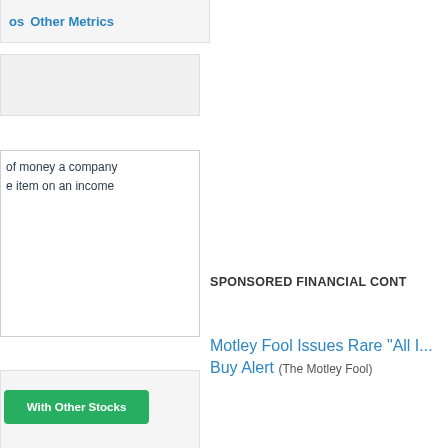os   Other Metrics
of money a company
e item on an income
SPONSORED FINANCIAL CONT
Motley Fool Issues Rare "All I... Buy Alert (The Motley Fool)
With Other Stocks